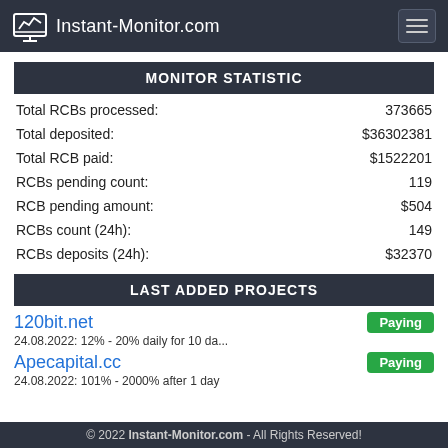Instant-Monitor.com
MONITOR STATISTIC
| Label | Value |
| --- | --- |
| Total RCBs processed: | 373665 |
| Total deposited: | $36302381 |
| Total RCB paid: | $1522201 |
| RCBs pending count: | 119 |
| RCB pending amount: | $504 |
| RCBs count (24h): | 149 |
| RCBs deposits (24h): | $32370 |
LAST ADDED PROJECTS
120bit.net
Paying
24.08.2022: 12% - 20% daily for 10 da...
Apecapital.cc
Paying
24.08.2022: 101% - 2000% after 1 day
© 2022 Instant-Monitor.com - All Rights Reserved!